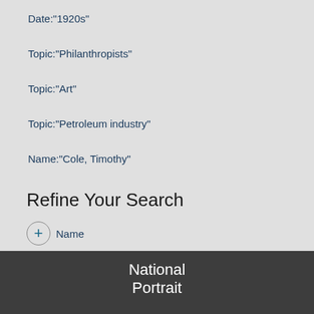Date:"1920s"
Topic:"Philanthropists"
Topic:"Art"
Topic:"Petroleum industry"
Name:"Cole, Timothy"
Refine Your Search
+ Name
National Portrait